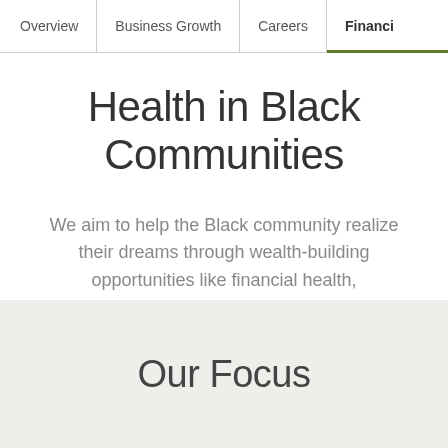Overview | Business Growth | Careers | Financi…
Health in Black Communities
We aim to help the Black community realize their dreams through wealth-building opportunities like financial health, homeownership, and increased savings and investments.
Our Focus